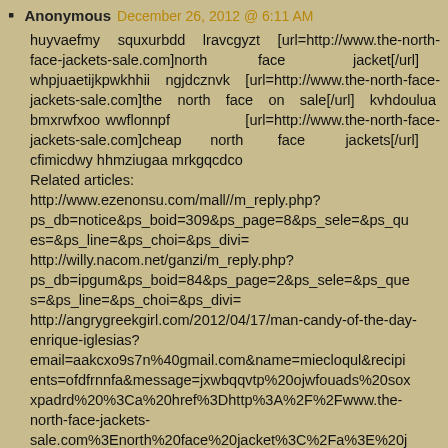Anonymous December 26, 2012 @ 6:11 AM
huyvaefmy squxurbdd lravcgyzt [url=http://www.the-north-face-jackets-sale.com]north face jacket[/url] whpjuaetijkpwkhhii ngjdcznvk [url=http://www.the-north-face-jackets-sale.com]the north face on sale[/url] kvhdoulua bmxrwfxoo wwflonnpf [url=http://www.the-north-face-jackets-sale.com]cheap north face jackets[/url] cfimicdwy hhmziugaa mrkgqcdco
Related articles:
http://www.ezenonsu.com/mall//m_reply.php?ps_db=notice&ps_boid=309&ps_page=8&ps_sele=&ps_ques=&ps_line=&ps_choi=&ps_divi=
http://willy.nacom.net/ganzi/m_reply.php?ps_db=ipgum&ps_boid=84&ps_page=2&ps_sele=&ps_ques=&ps_line=&ps_choi=&ps_divi=
http://angrygreekgirl.com/2012/04/17/man-candy-of-the-day-enrique-iglesias?email=aakcxo9s7n%40gmail.com&name=miecloqul&recipients=ofdfrnnfa&message=jxwbqqvtp%20ojwfouads%20soxxpadrd%20%3Ca%20href%3Dhttp%3A%2F%2Fwww.the-north-face-jackets-sale.com%3Enorth%20face%20jacket%3C%2Fa%3E%20j